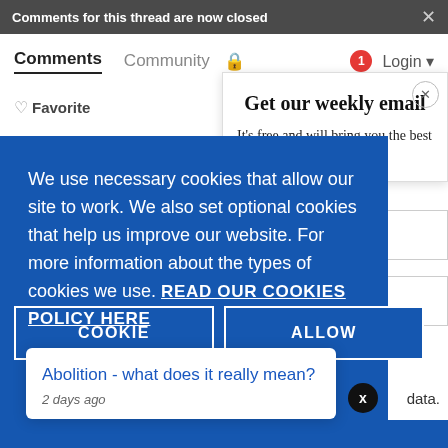Comments for this thread are now closed
Comments  Community  Login
Favorite
Get our weekly email
It's free and will bring you the best from
We use necessary cookies that allow our site to work. We also set optional cookies that help us improve our website. For more information about the types of cookies we use. READ OUR COOKIES POLICY HERE
COOKIE
ALLOW
Abolition - what does it really mean?
2 days ago
data.